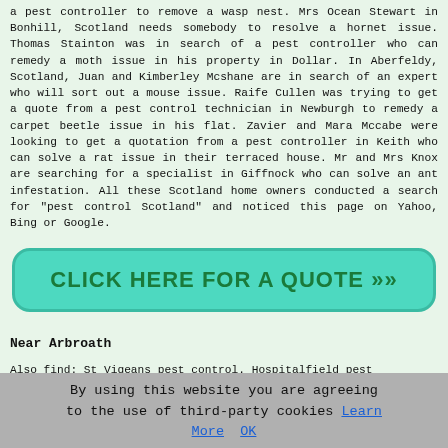a pest controller to remove a wasp nest. Mrs Ocean Stewart in Bonhill, Scotland needs somebody to resolve a hornet issue. Thomas Stainton was in search of a pest controller who can remedy a moth issue in his property in Dollar. In Aberfeldy, Scotland, Juan and Kimberley Mcshane are in search of an expert who will sort out a mouse issue. Raife Cullen was trying to get a quote from a pest control technician in Newburgh to remedy a carpet beetle issue in his flat. Zavier and Mara Mccabe were looking to get a quotation from a pest controller in Keith who can solve a rat issue in their terraced house. Mr and Mrs Knox are searching for a specialist in Giffnock who can solve an ant infestation. All these Scotland home owners conducted a search for "pest control Scotland" and noticed this page on Yahoo, Bing or Google.
[Figure (other): Green rounded button with text CLICK HERE FOR A QUOTE >>]
Near Arbroath
Also find: St Vigeans pest control. Hospitalfield pest
By using this website you are agreeing to the use of third-party cookies Learn More  OK